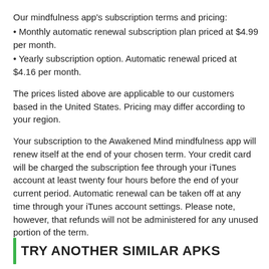Our mindfulness app's subscription terms and pricing:
• Monthly automatic renewal subscription plan priced at $4.99 per month.
• Yearly subscription option. Automatic renewal priced at $4.16 per month.
The prices listed above are applicable to our customers based in the United States. Pricing may differ according to your region.
Your subscription to the Awakened Mind mindfulness app will renew itself at the end of your chosen term. Your credit card will be charged the subscription fee through your iTunes account at least twenty four hours before the end of your current period. Automatic renewal can be taken off at any time through your iTunes account settings. Please note, however, that refunds will not be administered for any unused portion of the term.
TRY ANOTHER SIMILAR APKS